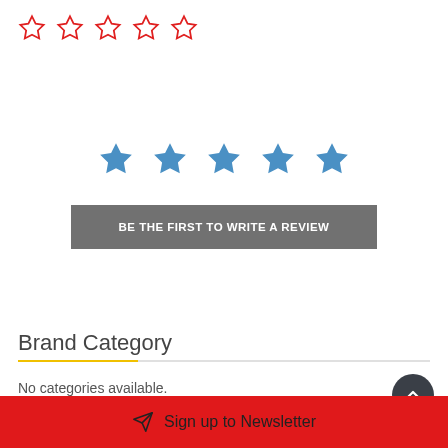[Figure (other): Five red outline star icons in a row at top left]
[Figure (other): Five solid blue star icons centered on page]
BE THE FIRST TO WRITE A REVIEW
Brand Category
No categories available.
Sign up to Newsletter